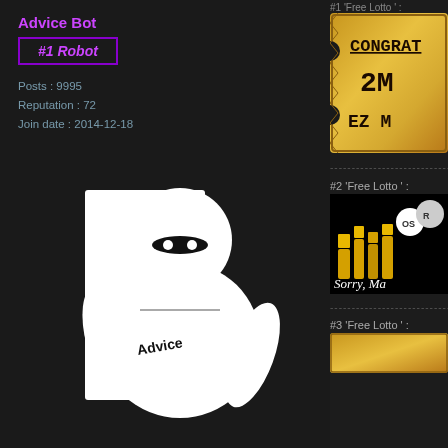Advice Bot
#1 Robot
Posts : 9995
Reputation : 72
Join date : 2014-12-18
[Figure (illustration): Baymax character from Big Hero 6, white inflatable robot, with 'Advice' written on its body, holding hands forward]
#1 'Free Lotto ' :
[Figure (illustration): Gold lottery ticket with text CONGRAT, 2M, EZ M]
#2 'Free Lotto ' :
[Figure (illustration): Dark image with golden bars and OSRS logo, text Sorry, Ma]
#3 'Free Lotto ' :
[Figure (illustration): Gold lottery ticket preview]